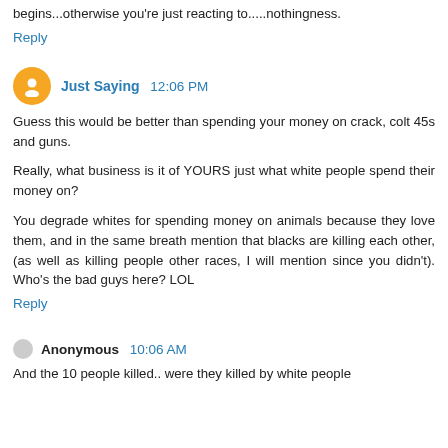begins...otherwise you're just reacting to.....nothingness.
Reply
Just Saying  12:06 PM
Guess this would be better than spending your money on crack, colt 45s and guns.

Really, what business is it of YOURS just what white people spend their money on?

You degrade whites for spending money on animals because they love them, and in the same breath mention that blacks are killing each other, (as well as killing people other races, I will mention since you didn't). Who's the bad guys here? LOL
Reply
Anonymous  10:06 AM
And the 10 people killed.. were they killed by white people